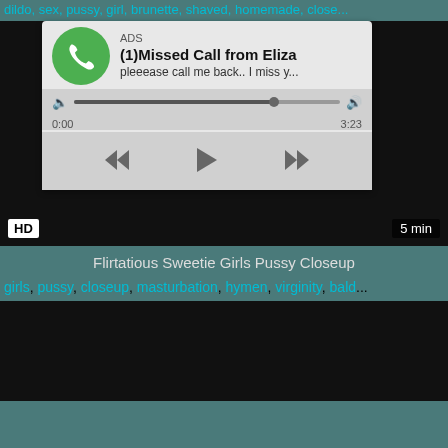dildo, sex, pussy, girl, brunette, shaved, homemade, close...
[Figure (screenshot): Video player with ad overlay showing missed call notification and media controls. HD badge bottom left, 5 min duration bottom right.]
Flirtatious Sweetie Girls Pussy Closeup
girls, pussy, closeup, masturbation, hymen, virginity, bald...
[Figure (screenshot): Dark video thumbnail, second video]